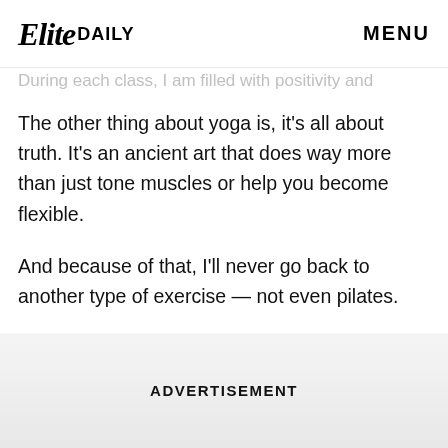Elite DAILY   MENU
During each class, I am filled with positivity and
The other thing about yoga is, it's all about truth. It's an ancient art that does way more than just tone muscles or help you become flexible.
And because of that, I'll never go back to another type of exercise — not even pilates.
Every time I go to a class, it's a spiritual journey that helps me go deeper inside myself.
ADVERTISEMENT